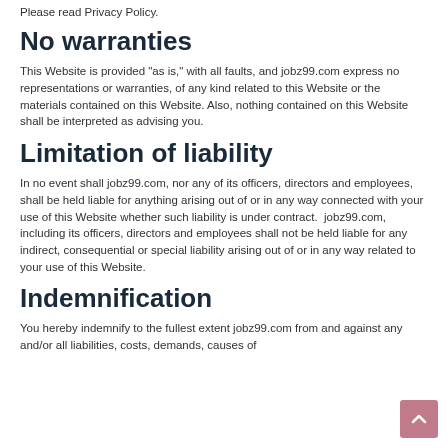Please read Privacy Policy.
No warranties
This Website is provided "as is," with all faults, and jobz99.com express no representations or warranties, of any kind related to this Website or the materials contained on this Website. Also, nothing contained on this Website shall be interpreted as advising you.
Limitation of liability
In no event shall jobz99.com, nor any of its officers, directors and employees, shall be held liable for anything arising out of or in any way connected with your use of this Website whether such liability is under contract.  jobz99.com, including its officers, directors and employees shall not be held liable for any indirect, consequential or special liability arising out of or in any way related to your use of this Website.
Indemnification
You hereby indemnify to the fullest extent jobz99.com from and against any and/or all liabilities, costs, demands, causes of